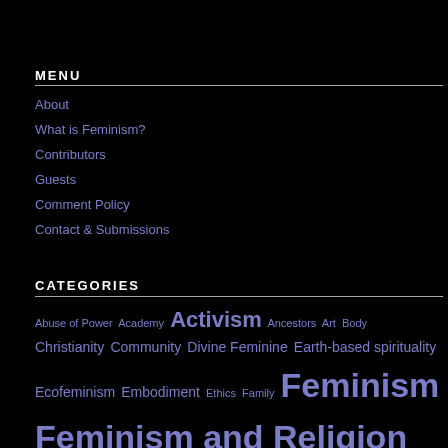MENU
About
What is Feminism?
Contributors
Guests
Comment Policy
Contact & Submissions
CATEGORIES
Abuse of Power Academy Activism Ancestors Art Body Christianity Community Divine Feminine Earth-based spirituality Ecofeminism Embodiment Ethics Family Feminism Feminism and Religion Feminist Theology Foremothers